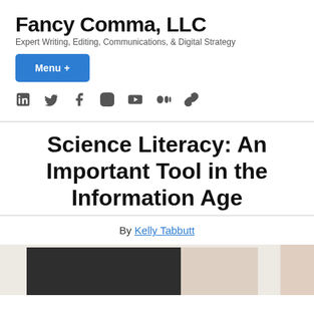Fancy Comma, LLC
Expert Writing, Editing, Communications, & Digital Strategy
Menu +
[Figure (other): Social media icons row: LinkedIn, Twitter, Facebook, Instagram, YouTube, Medium, link]
Science Literacy: An Important Tool in the Information Age
By Kelly Tabbutt
[Figure (photo): Partial photograph showing a dark chalkboard or screen on the left and a person's arm on the right, cut off at the bottom of the page]